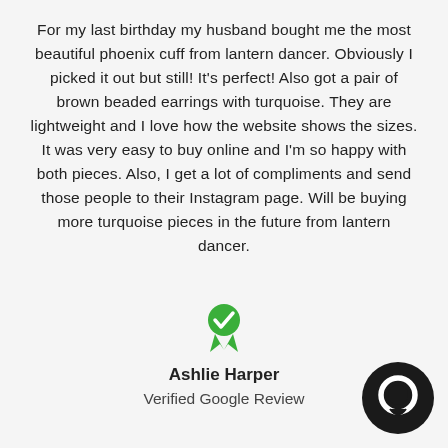For my last birthday my husband bought me the most beautiful phoenix cuff from lantern dancer. Obviously I picked it out but still! It's perfect! Also got a pair of brown beaded earrings with turquoise. They are lightweight and I love how the website shows the sizes. It was very easy to buy online and I'm so happy with both pieces. Also, I get a lot of compliments and send those people to their Instagram page. Will be buying more turquoise pieces in the future from lantern dancer.
[Figure (illustration): Green verified badge / ribbon icon with checkmark]
Ashlie Harper
Verified Google Review
[Figure (logo): Black circular chat bubble logo in bottom right corner]